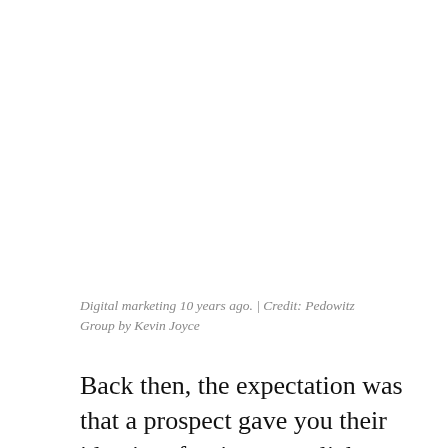Digital marketing 10 years ago. | Credit: Pedowitz Group by Kevin Joyce
Back then, the expectation was that a prospect gave you their identity after just one click.